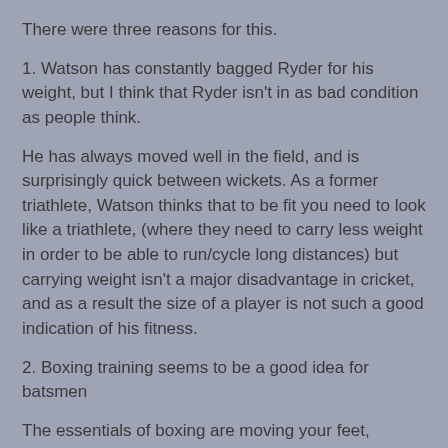There were three reasons for this.
1. Watson has constantly bagged Ryder for his weight, but I think that Ryder isn't in as bad condition as people think.
He has always moved well in the field, and is surprisingly quick between wickets. As a former triathlete, Watson thinks that to be fit you need to look like a triathlete, (where they need to carry less weight in order to be able to run/cycle long distances) but carrying weight isn't a major disadvantage in cricket, and as a result the size of a player is not such a good indication of his fitness.
2. Boxing training seems to be a good idea for batsmen
The essentials of boxing are moving your feet, avoiding danger and attacking a target. These are quite similar to the skills required when batting. When Ryder first came back from his first try at boxing he looked a much better player for it. He started moving his feet again, and hit 50 against South Africa, before off-field issues sidelined him again.